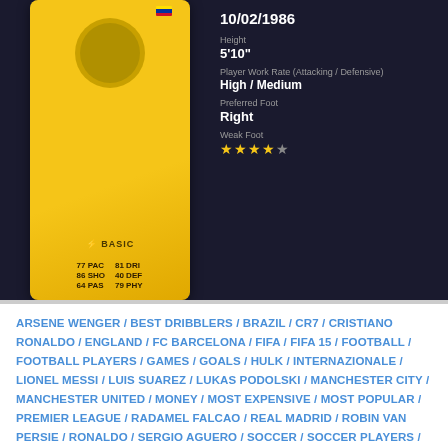[Figure (screenshot): FIFA 15 player card showing a player with stats: 77 PAC, 81 DRI, 86 SHO, 40 DEF, 64 PAS, 79 PHY. Labeled BASIC. Info panel shows DOB 10/02/1986, Height 5'10", Player Work Rate High / Medium, Preferred Foot Right, Weak Foot 4 stars.]
ARSENE WENGER / BEST DRIBBLERS / BRAZIL / CR7 / CRISTIANO RONALDO / ENGLAND / FC BARCELONA / FIFA / FIFA 15 / FOOTBALL / FOOTBALL PLAYERS / GAMES / GOALS / HULK / INTERNAZIONALE / LIONEL MESSI / LUIS SUAREZ / LUKAS PODOLSKI / MANCHESTER CITY / MANCHESTER UNITED / MONEY / MOST EXPENSIVE / MOST POPULAR / PREMIER LEAGUE / RADAMEL FALCAO / REAL MADRID / ROBIN VAN PERSIE / RONALDO / SERGIO AGUERO / SOCCER / SOCCER PLAYERS / SPAIN / SPORTS / STRONGEST / WAYNE ROONEY / ZLATAN IBRAHIMOVIC
MAR 28, 2015
Top 10 Football Players With Best Shooting Power According To FIFA 15 Player Ratings